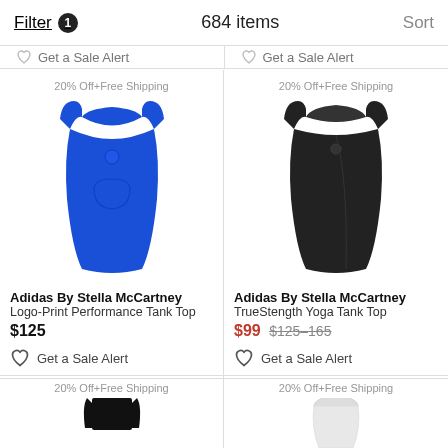Filter 1  684 items  Sort
Get a Sale Alert  Get a Sale Alert
20% Off+Free Shipping
[Figure (photo): Blue Adidas By Stella McCartney Logo-Print Performance Tank Top]
20% Off+Free Shipping
[Figure (photo): Black Adidas By Stella McCartney TrueStength Yoga Tank Top]
Adidas By Stella McCartney
Logo-Print Performance Tank Top
$125
Get a Sale Alert
Adidas By Stella McCartney
TrueStength Yoga Tank Top
$99 $125–165
Get a Sale Alert
20% Off+Free Shipping
20% Off+Free Shipping